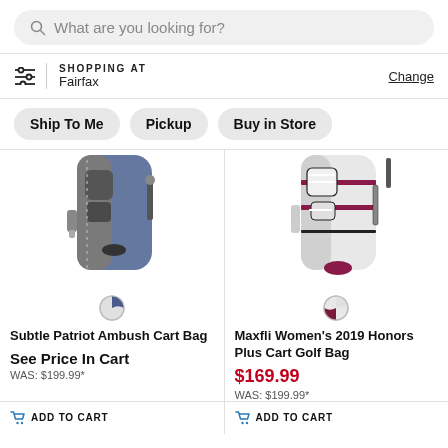What are you looking for?
SHOPPING AT
Fairfax
Change
Ship To Me
Pickup
Buy in Store
[Figure (photo): Blue and grey golf cart bag - Subtle Patriot Ambush Cart Bag]
[Figure (photo): White and burgundy women's golf cart bag - Maxfli Women's 2019 Honors Plus Cart Golf Bag]
Subtle Patriot Ambush Cart Bag
Maxfli Women's 2019 Honors Plus Cart Golf Bag
See Price In Cart
$169.99
WAS: $199.99*
WAS: $199.99*
ADD TO CART
ADD TO CART